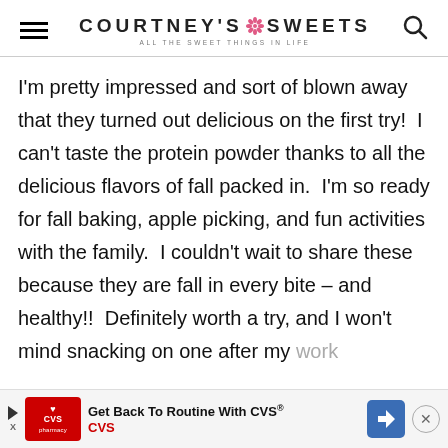COURTNEY'S SWEETS — ALL THE SWEET THINGS IN LIFE
I'm pretty impressed and sort of blown away that they turned out delicious on the first try!  I can't taste the protein powder thanks to all the delicious flavors of fall packed in.  I'm so ready for fall baking, apple picking, and fun activities with the family.  I couldn't wait to share these because they are fall in every bite – and healthy!!  Definitely worth a try, and I won't mind snacking on one after my work
[Figure (other): CVS advertisement banner: Get Back To Routine With CVS® — CVS pharmacy logo, blue arrow navigation icon, close button]